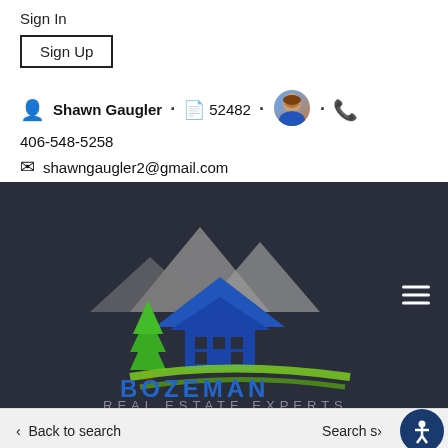Sign In
Sign Up
Shawn Gaugler · 52482 · 406-548-5258
shawngaugler2@gmail.com
[Figure (logo): Bozeman Real Estate Experts logo on dark navy background with mountain and tree graphic and blue house icon with green swoosh]
Back to search
Search s...